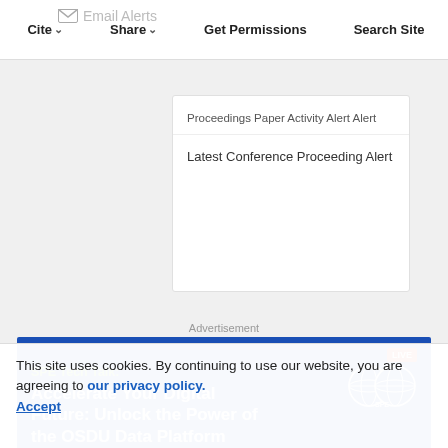Cite  Share  Get Permissions  Search Site
Proceedings Paper Activity Alert Alert
Latest Conference Proceeding Alert
Advertisement
[Figure (infographic): SPE Tech Talk advertisement banner: 'Accelerate Your Digital Future: Unlock the Power of the OSDU Data Platform' with Watch Now button, LIVE badge, SPE logo, and faces of three speakers at bottom.]
This site uses cookies. By continuing to use our website, you are agreeing to our privacy policy. Accept